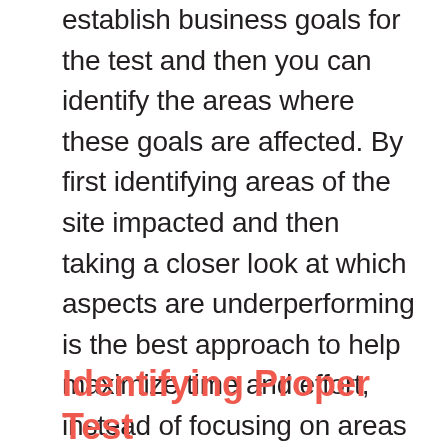establish business goals for the test and then you can identify the areas where these goals are affected. By first identifying areas of the site impacted and then taking a closer look at which aspects are underperforming is the best approach to help maximize time and effort, instead of focusing on areas of the site not impacted by the direct goal you are trying to achieve or areas that are currently performing as expected. Prioritize the pages with the highest potential for improvement that that can help you achieve your goals.
Identifying Proper Test